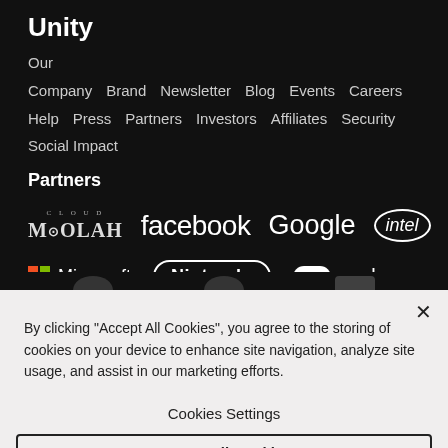Unity
Our Company  Brand  Newsletter  Blog  Events  Careers  Help  Press  Partners  Investors  Affiliates  Security  Social Impact
Partners
[Figure (logo): Partner logos row 1: Cloud Moolah, facebook, Google, intel]
[Figure (logo): Partner logos row 2: Microsoft, Nintendo, oculus]
By clicking “Accept All Cookies”, you agree to the storing of cookies on your device to enhance site navigation, analyze site usage, and assist in our marketing efforts.
Cookies Settings
Accept All Cookies